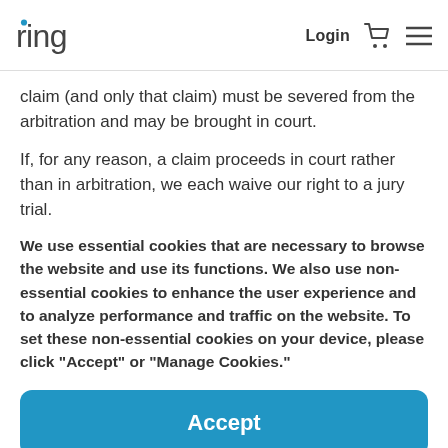ring | Login
claim (and only that claim) must be severed from the arbitration and may be brought in court.
If, for any reason, a claim proceeds in court rather than in arbitration, we each waive our right to a jury trial.
We use essential cookies that are necessary to browse the website and use its functions. We also use non-essential cookies to enhance the user experience and to analyze performance and traffic on the website. To set these non-essential cookies on your device, please click “Accept” or “Manage Cookies.”
Accept
Manage Cookies